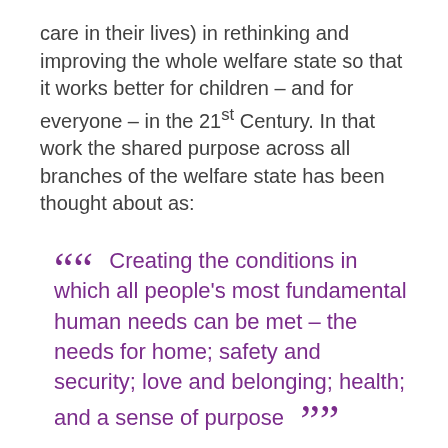care in their lives) in rethinking and improving the whole welfare state so that it works better for children – and for everyone – in the 21st Century. In that work the shared purpose across all branches of the welfare state has been thought about as:
““ Creating the conditions in which all people’s most fundamental human needs can be met – the needs for home; safety and security; love and belonging; health; and a sense of purpose ””